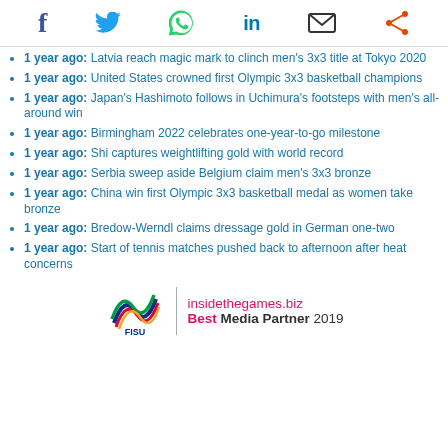Social share icons: Facebook, Twitter, WhatsApp, LinkedIn, Email, Share
1 year ago: Latvia reach magic mark to clinch men's 3x3 title at Tokyo 2020
1 year ago: United States crowned first Olympic 3x3 basketball champions
1 year ago: Japan's Hashimoto follows in Uchimura's footsteps with men's all-around win
1 year ago: Birmingham 2022 celebrates one-year-to-go milestone
1 year ago: Shi captures weightlifting gold with world record
1 year ago: Serbia sweep aside Belgium claim men's 3x3 bronze
1 year ago: China win first Olympic 3x3 basketball medal as women take bronze
1 year ago: Bredow-Werndl claims dressage gold in German one-two
1 year ago: Start of tennis matches pushed back to afternoon after heat concerns
[Figure (logo): FISU logo with insidethegames.biz Best Media Partner 2019]